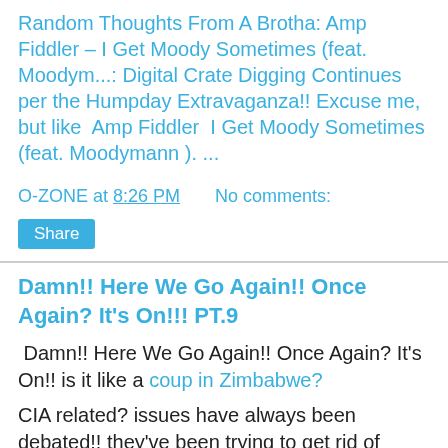Random Thoughts From A Brotha: Amp Fiddler – I Get Moody Sometimes (feat. Moodym...: Digital Crate Digging Continues per the Humpday Extravaganza!! Excuse me, but like  Amp Fiddler  I Get Moody Sometimes (feat. Moodymann ). ...
O-ZONE at 8:26 PM    No comments:
Share
Damn!! Here We Go Again!! Once Again? It's On!!! PT.9
Damn!! Here We Go Again!! Once Again? It's On!! is it like a coup in Zimbabwe?
CIA related? issues have always been debated!! they've been trying to get rid of President Robert Mugabe..